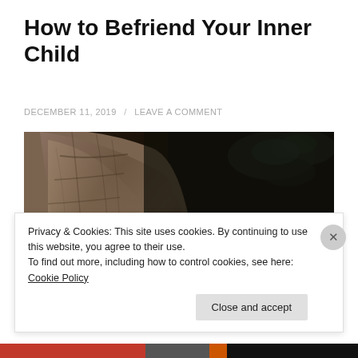How to Befriend Your Inner Child
DECEMBER 11, 2019 / LEAVE A COMMENT
[Figure (photo): Close-up photograph of a large tree trunk with rough bark texture, dark forest background with faint blue-green foliage visible in upper right.]
Privacy & Cookies: This site uses cookies. By continuing to use this website, you agree to their use.
To find out more, including how to control cookies, see here: Cookie Policy
Close and accept